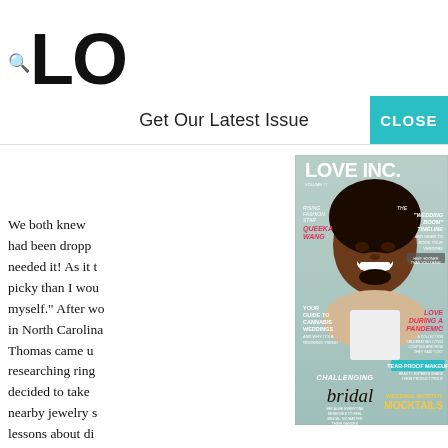LO [partially visible magazine title LOVE INC.]
We both knew had been dropp needed it! As it t picky than I wou myself." After wo in North Carolina Thomas came u researching ring decided to take nearby jewelry s lessons about di eventually we g immediately dra that day."
Only a few weel ring was ready. " Monday, and co says. "I had alwa elaborate plan, and I'm sure Mo probably would rather l
Get Our Latest Issue
CLOSE
[Figure (illustration): Magazine cover of LOVE INC. featuring a smiling Black man with an afro, with various article headlines: RISING FASHION STAR QUEEKA WANG, YOUR GUIDE TO CANNABIS WEDDINGS AND WHY IT'S A GROWING TREND, THE "WEDDING BOOM" TIMELINE, LOVE DURING A PANDEMIC, TEAR-PROOF MAKEUP, WEDDING WORTHY MOCKTAILS, CHALLENGING bridal BECAUSE EVERYONE DESERVES TO FEEL BRIDAL NO MATTER THEIR GENDER]